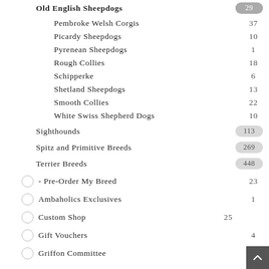Old English Sheepdogs 29
Pembroke Welsh Corgis 37
Picardy Sheepdogs 10
Pyrenean Sheepdogs 1
Rough Collies 18
Schipperke 6
Shetland Sheepdogs 13
Smooth Collies 22
White Swiss Shepherd Dogs 10
Sighthounds 113
Spitz and Primitive Breeds 269
Terrier Breeds 448
- Pre-Order My Breed 23
Ambaholics Exclusives 1
Custom Shop 25
Gift Vouchers 4
Griffon Committee 16